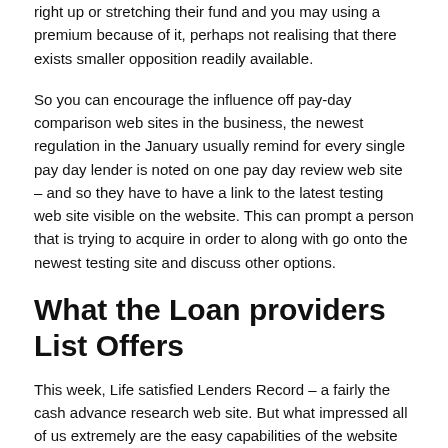right up or stretching their fund and you may using a premium because of it, perhaps not realising that there exists smaller opposition readily available.
So you can encourage the influence off pay-day comparison web sites in the business, the newest regulation in the January usually remind for every single pay day lender is noted on one pay day review web site – and so they have to have a link to the latest testing web site visible on the website. This can prompt a person that is trying to acquire in order to along with go onto the newest testing site and discuss other options.
What the Loan providers List Offers
This week, Life satisfied Lenders Record – a fairly the cash advance research web site. But what impressed all of us extremely are the easy capabilities of the website and just how they did wonders towards cellular and tablet too. The